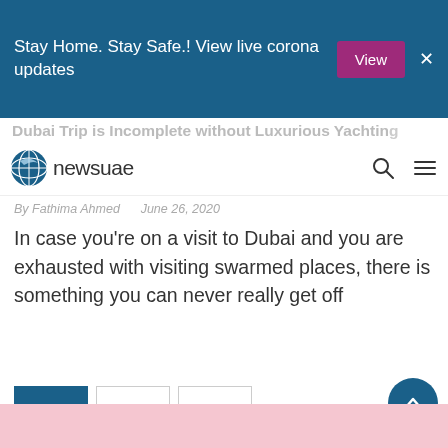Stay Home. Stay Safe.! View live corona updates  View  ×
Dubai Trip is Incomplete without Luxurious Yachtin...
[Figure (logo): newsuae logo with globe icon, search and menu icons]
By Fathima Ahmed    June 26, 2020
In case you're on a visit to Dubai and you are exhausted with visiting swarmed places, there is something you can never really get off
1  2  >